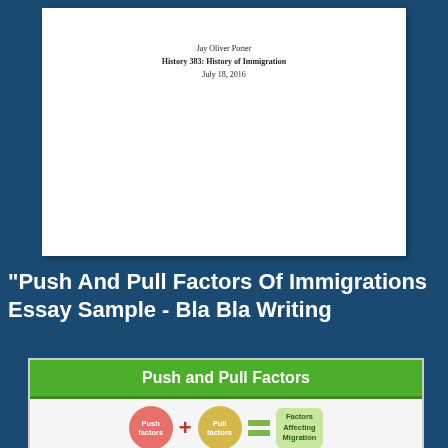Jay Oliver Porter
History 383: History of Immigration
July 18, 2016
“Push And Pull Factors Of Immigrations Essay Sample - Bla Bla Writing
[Figure (infographic): Push and Pull Factors infographic. Green header bar with text 'Push and Pull Factors'. Below: a red circle labeled 'Push factors' plus a gold circle labeled 'Pull factors' equals two green bars, then a green rounded box reading 'Factors Affecting Migration'.]